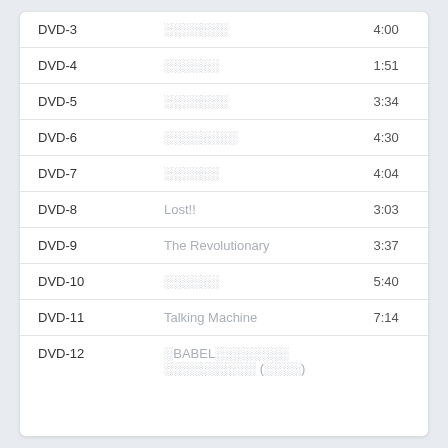| Track | Title | Duration |
| --- | --- | --- |
| DVD-3 | ░░░░░░░ | 4:00 |
| DVD-4 | ░░░░░░ | 1:51 |
| DVD-5 | ░░░░░░░ | 3:34 |
| DVD-6 | ░░░░░░░░ | 4:30 |
| DVD-7 | ░░░░░░ | 4:04 |
| DVD-8 | Lost!! | 3:03 |
| DVD-9 | The Revolutionary | 3:37 |
| DVD-10 | ░░░░░░ | 5:40 |
| DVD-11 | Talking Machine | 7:14 |
| DVD-12 | ░BABEL░░░░░░░░ ░░░░░░░░░░ (░░░░) |  |